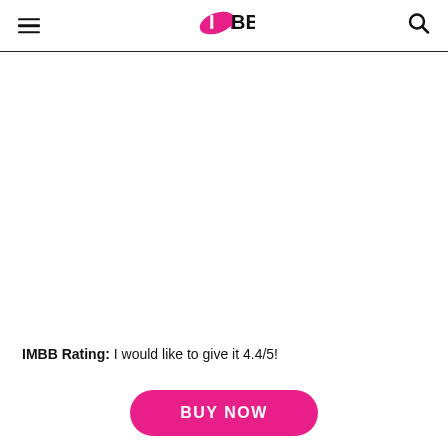IMBB
IMBB Rating: I would like to give it 4.4/5!
BUY NOW